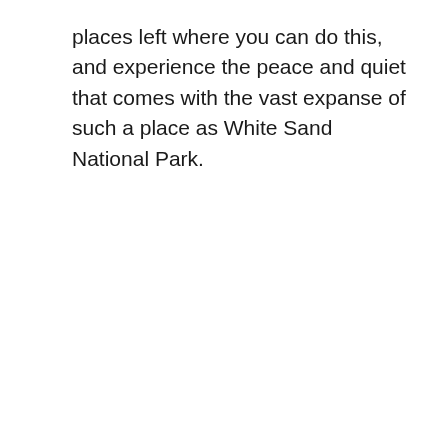places left where you can do this, and experience the peace and quiet that comes with the vast expanse of such a place as White Sand National Park.